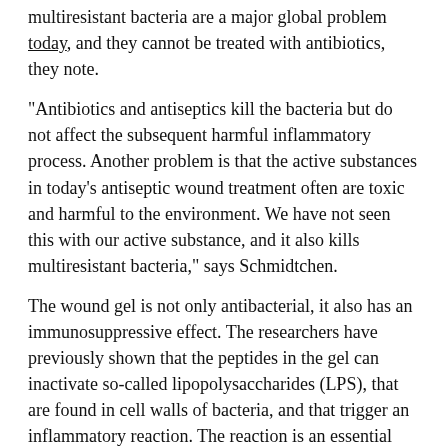multiresistant bacteria are a major global problem today, and they cannot be treated with antibiotics, they note.
"Antibiotics and antiseptics kill the bacteria but do not affect the subsequent harmful inflammatory process. Another problem is that the active substances in today’s antiseptic wound treatment often are toxic and harmful to the environment. We have not seen this with our active substance, and it also kills multiresistant bacteria," says Schmidtchen.
The wound gel is not only antibacterial, it also has an immunosuppressive effect. The researchers have previously shown that the peptides in the gel can inactivate so-called lipopolysaccharides (LPS), that are found in cell walls of bacteria, and that trigger an inflammatory reaction. The reaction is an essential part of our immune system as we quickly respond to and fight bacteria, the say.
"However, severe and uncontrolled inflammation inhibits wound healing, and it is very interesting to see that the gel lowers the inflammatory response within 24 hours of the treatment, and then further reduces the bacterial levels over a period of 3 to four days," note the Lund researchers.